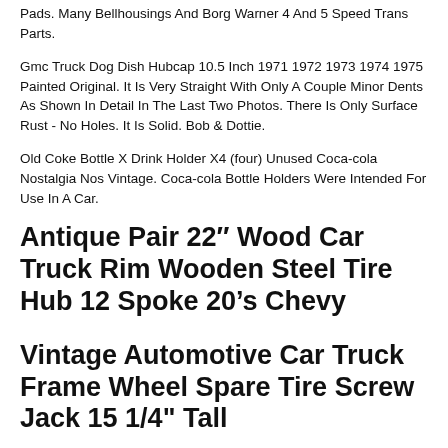Pads. Many Bellhousings And Borg Warner 4 And 5 Speed Trans Parts.
Gmc Truck Dog Dish Hubcap 10.5 Inch 1971 1972 1973 1974 1975 Painted Original. It Is Very Straight With Only A Couple Minor Dents As Shown In Detail In The Last Two Photos. There Is Only Surface Rust - No Holes. It Is Solid. Bob & Dottie.
Old Coke Bottle X Drink Holder X4 (four) Unused Coca-cola Nostalgia Nos Vintage. Coca-cola Bottle Holders Were Intended For Use In A Car.
Antique Pair 22″ Wood Car Truck Rim Wooden Steel Tire Hub 12 Spoke 20’s Chevy
Vintage Automotive Car Truck Frame Wheel Spare Tire Screw Jack 15 1/4" Tall